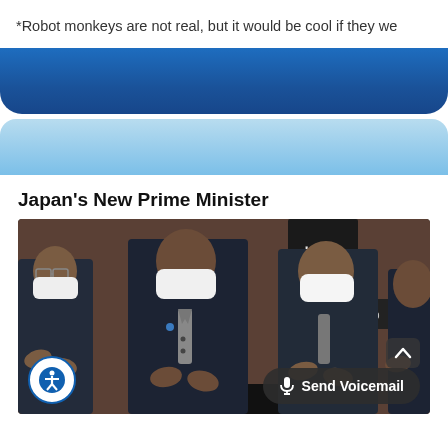*Robot monkeys are not real, but it would be cool if they we
[Figure (other): Dark blue banner/bar with rounded bottom corners]
[Figure (other): Light blue banner/bar with rounded top corners]
Japan's New Prime Minister
[Figure (photo): Photo of several Japanese men in dark suits wearing white face masks, clapping. Japanese characters visible in background. Accessibility button bottom left, Send Voicemail button bottom right.]